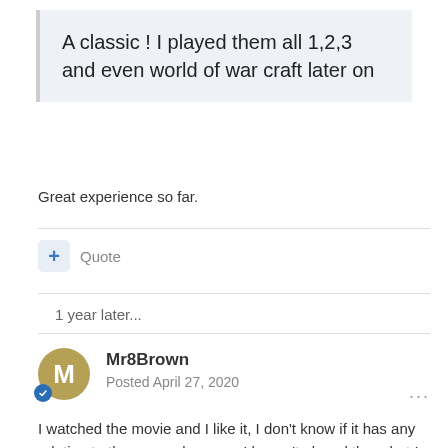A classic ! I played them all 1,2,3 and even world of war craft later on
Great experience so far.
1 year later...
Mr8Brown
Posted April 27, 2020
I watched the movie and I like it, I don't know if it has any relation to the games because I haven't played them but I definitely like the whole plot and the battles 😊